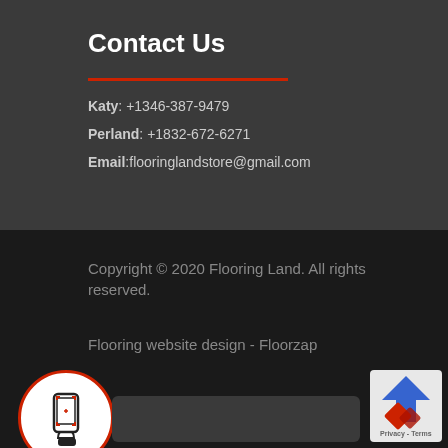Contact Us
Katy: +1346-387-9479
Perland: +1832-672-6271
Email:flooringlandstore@gmail.com
Copyright © 2020 Flooring Land. All rights reserved.
Flooring website design - Floorzap
[Figure (illustration): Chat/phone icon in a white circle with red border]
[Figure (logo): Flooring Land logo - red and blue diamond/arrow shapes with text]